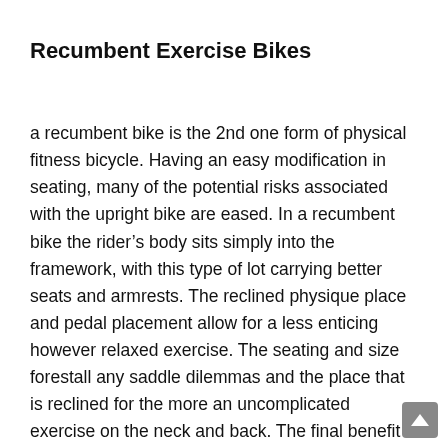Recumbent Exercise Bikes
a recumbent bike is the 2nd one form of physical fitness bicycle. Having an easy modification in seating, many of the potential risks associated with the upright bike are eased. In a recumbent bike the rider's body sits simply into the framework, with this type of lot carrying better seats and armrests. The reclined physique place and pedal placement allow for a less enticing however relaxed exercise. The seating and size forestall any saddle dilemmas and the place that is reclined for the more an uncomplicated exercise on the neck and back. The final benefit is that a recumbent bike may be used via other people in every walks of life. From physical therapy and recovery, to a stress-free experience in home health, the recumbent fits the wishes of on the subject of anyone. Once again, no bike is perfect and